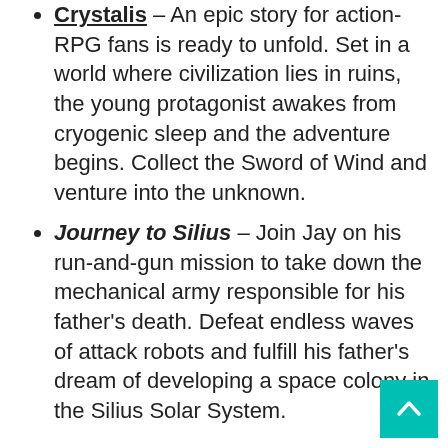Crystalis – An epic story for action-RPG fans is ready to unfold. Set in a world where civilization lies in ruins, the young protagonist awakes from cryogenic sleep and the adventure begins. Collect the Sword of Wind and venture into the unknown.
Journey to Silius – Join Jay on his run-and-gun mission to take down the mechanical army responsible for his father's death. Defeat endless waves of attack robots and fulfill his father's dream of developing a space colony in the Silius Solar System.
These new additions expand the Super NES library available on the Nintendo Switch™ system to 24 titles and the NES library to 50 titles, for a total of 74 classic games! To celebrate the inclusion of NES games, Nintendo is offering a 50% discou... a set of Nintendo Entertainment System